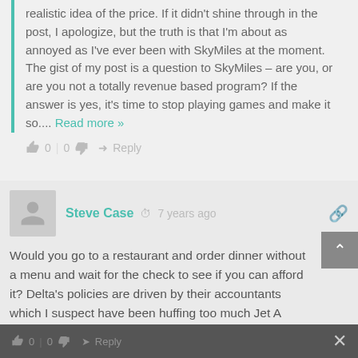realistic idea of the price. If it didn't shine through in the post, I apologize, but the truth is that I'm about as annoyed as I've ever been with SkyMiles at the moment. The gist of my post is a question to SkyMiles – are you, or are you not a totally revenue based program? If the answer is yes, it's time to stop playing games and make it so.... Read more »
0 | 0  Reply
Steve Case  7 years ago
Would you go to a restaurant and order dinner without a menu and wait for the check to see if you can afford it? Delta's policies are driven by their accountants which I suspect have been huffing too much Jet A exhaust on the ramp.
0  Reply